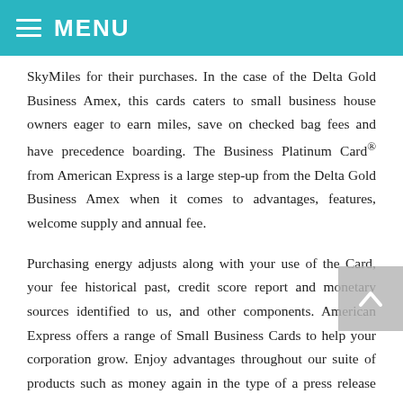MENU
SkyMiles for their purchases. In the case of the Delta Gold Business Amex, this cards caters to small business house owners eager to earn miles, save on checked bag fees and have precedence boarding. The Business Platinum Card® from American Express is a large step-up from the Delta Gold Business Amex when it comes to advantages, features, welcome supply and annual fee.
Purchasing energy adjusts along with your use of the Card, your fee historical past, credit score report and monetary sources identified to us, and other components. American Express offers a range of Small Business Cards to help your corporation grow. Enjoy advantages throughout our suite of products such as money again in the type of a press release credit score, journey rewards, versatile payment choices, and Membership Rewards® points‡. Choose the Small Business Card from American Express